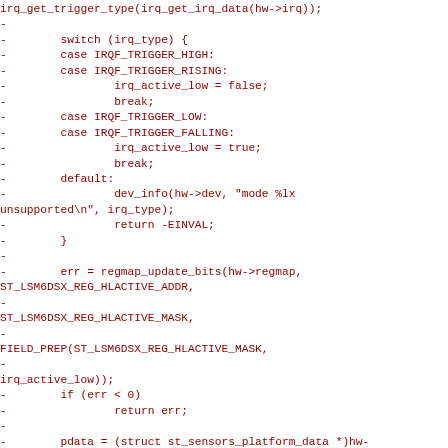irq_get_trigger_type(irq_get_irq_data(hw->irq));
-
-        switch (irq_type) {
-        case IRQF_TRIGGER_HIGH:
-        case IRQF_TRIGGER_RISING:
-                irq_active_low = false;
-                break;
-        case IRQF_TRIGGER_LOW:
-        case IRQF_TRIGGER_FALLING:
-                irq_active_low = true;
-                break;
-        default:
-                dev_info(hw->dev, "mode %lx unsupported\n", irq_type);
-                return -EINVAL;
-        }
-
-        err = regmap_update_bits(hw->regmap, ST_LSM6DSX_REG_HLACTIVE_ADDR,
-
ST_LSM6DSX_REG_HLACTIVE_MASK,
-
FIELD_PREP(ST_LSM6DSX_REG_HLACTIVE_MASK,
-
irq_active_low));
-        if (err < 0)
-                return err;
-
-        pdata = (struct st_sensors_platform_data *)hw->dev->platform_data;
-        if ((pp && of_property_read_bool(pp, "drive-